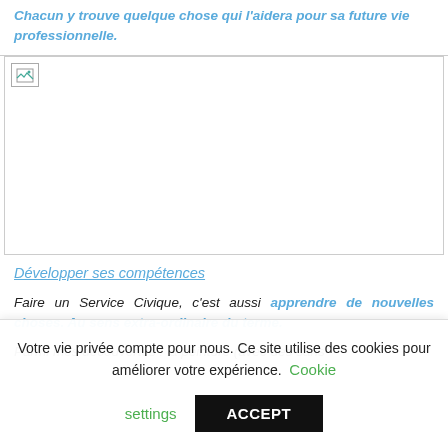Chacun y trouve quelque chose qui l'aidera pour sa future vie professionnelle.
[Figure (photo): Broken/unloaded image placeholder with a small broken image icon in the top-left corner]
Développer ses compétences
Faire un Service Civique, c'est aussi apprendre de nouvelles choses. Au sens extra-ordinaire du terme.
Parmi mes découvertes : la peinture (avec des sans-
Votre vie privée compte pour nous. Ce site utilise des cookies pour améliorer votre expérience. Cookie settings ACCEPT